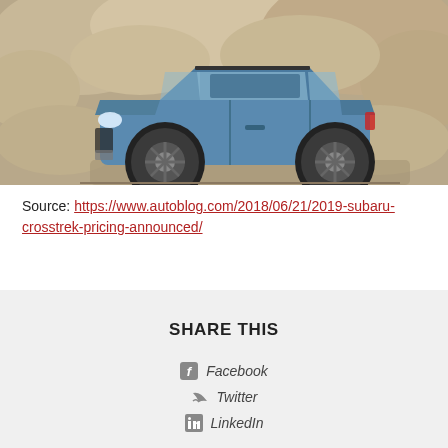[Figure (photo): Side profile photo of a blue Subaru Crosstrek SUV parked in front of a rocky/stone wall background]
Source: https://www.autoblog.com/2018/06/21/2019-subaru-crosstrek-pricing-announced/
SHARE THIS
Facebook
Twitter
LinkedIn